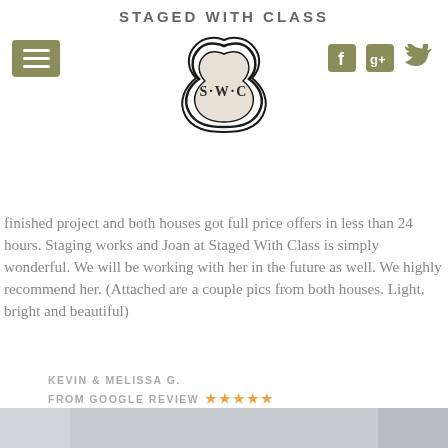STAGED WITH CLASS
[Figure (logo): SWC monogram logo in quatrefoil shape with social media icons (Facebook, Google+, Twitter) and hamburger menu]
finished project and both houses got full price offers in less than 24 hours. Staging works and Joan at Staged With Class is simply wonderful. We will be working with her in the future as well. We highly recommend her. (Attached are a couple pics from both houses. Light, bright and beautiful)
KEVIN & MELISSA G.
FROM GOOGLE REVIEW ★★★★★
[Figure (photo): Interior photo of a home showing a light, bright basement or hallway area with recessed lighting, white walls, staircase railing, and a decorative sunburst mirror on the wall]